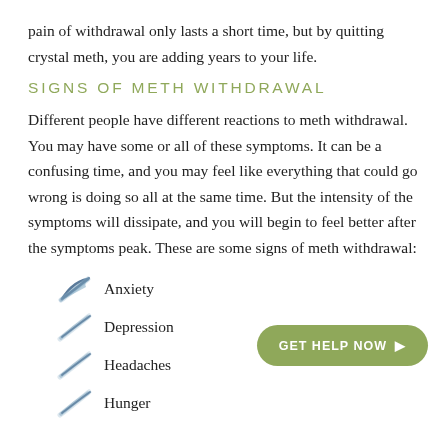pain of withdrawal only lasts a short time, but by quitting crystal meth, you are adding years to your life.
SIGNS OF METH WITHDRAWAL
Different people have different reactions to meth withdrawal. You may have some or all of these symptoms. It can be a confusing time, and you may feel like everything that could go wrong is doing so all at the same time. But the intensity of the symptoms will dissipate, and you will begin to feel better after the symptoms peak. These are some signs of meth withdrawal:
Anxiety
Depression
Headaches
Hunger
[Figure (illustration): GET HELP NOW button with rounded corners and olive/green color]